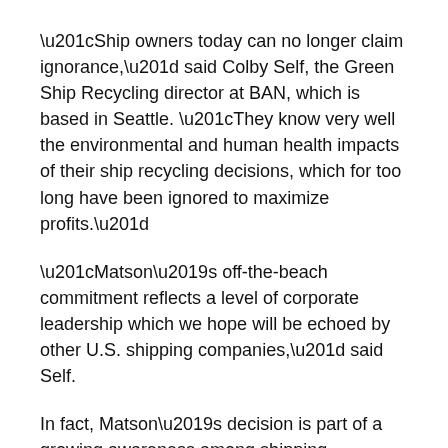“Ship owners today can no longer claim ignorance,” said Colby Self, the Green Ship Recycling director at BAN, which is based in Seattle. “They know very well the environmental and human health impacts of their ship recycling decisions, which for too long have been ignored to maximize profits.”
“Matson’s off-the-beach commitment reflects a level of corporate leadership which we hope will be echoed by other U.S. shipping companies,” said Self.
In fact, Matson’s decision is part of a growing awareness among shipping companies of the dangers of on-the-beach shipbreaking and a shift in values toward safer, less toxic ship recycling practices.
The Norwegian Shipowners’ Association and its 160 members recently voted not to permit Norwegian-owned ships to be scrapped on South Asian beaches.
Other large ship owners that have also adopted more